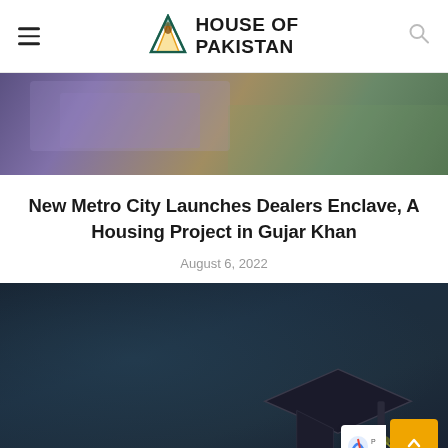HOUSE OF PAKISTAN
[Figure (photo): Aerial architectural rendering of a city/housing project with purple-tinted buildings and green areas]
New Metro City Launches Dealers Enclave, A Housing Project in Gujar Khan
August 6, 2022
[Figure (photo): Dark teal/navy background with a graduation cap visible in the lower right, possibly an image for an education-related article or housing project]